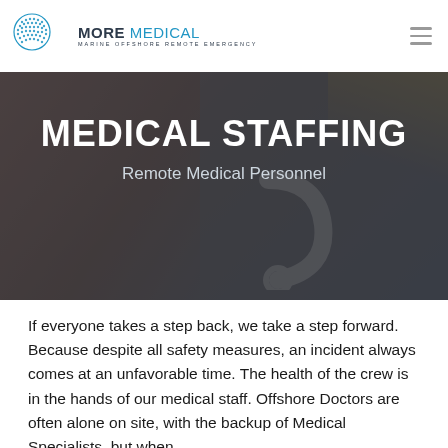[Figure (logo): MORE MEDICAL logo — globe icon on left, text 'MORE MEDICAL' with tagline 'MARINE OFFSHORE REMOTE EMERGENCY' below]
[Figure (photo): Background hero photo showing a person in a red jacket looking down, with yellow elements visible, overlaid with a dark semi-transparent grey panel]
MEDICAL STAFFING
Remote Medical Personnel
If everyone takes a step back, we take a step forward. Because despite all safety measures, an incident always comes at an unfavorable time. The health of the crew is in the hands of our medical staff. Offshore Doctors are often alone on site, with the backup of Medical Specialists, but when